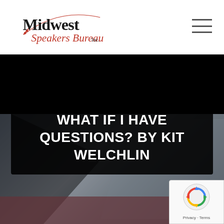[Figure (logo): Midwest Speakers Bureau Inc. logo with fishing rod arc and red dots]
[Figure (other): Hamburger menu icon (three horizontal lines)]
[Figure (other): Dark geometric background with grey and dark panel shapes, burgundy bottom strip]
WHAT IF I HAVE QUESTIONS? BY KIT WELCHLIN
[Figure (other): reCAPTCHA widget showing spinning arrows icon and Privacy/Terms text]